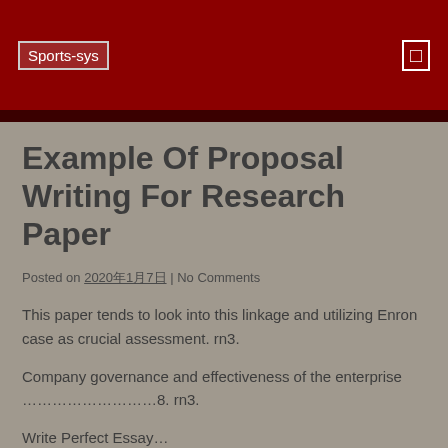Sports-sys
Example Of Proposal Writing For Research Paper
Posted on 2020年1月7日 | No Comments
This paper tends to look into this linkage and utilizing Enron case as crucial assessment. rn3.
Company governance and effectiveness of the enterprise ………………………8. rn3.
Write Perfect Essay…